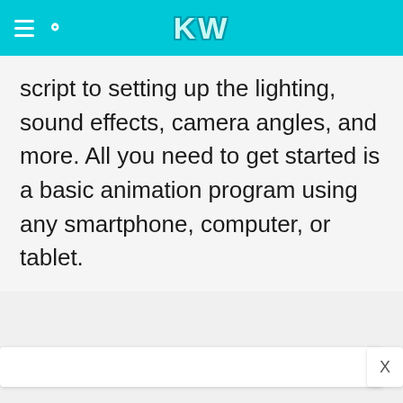KW
script to setting up the lighting, sound effects, camera angles, and more. All you need to get started is a basic animation program using any smartphone, computer, or tablet.